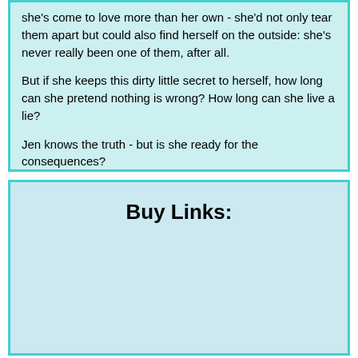she's come to love more than her own - she'd not only tear them apart but could also find herself on the outside: she's never really been one of them, after all.

But if she keeps this dirty little secret to herself, how long can she pretend nothing is wrong? How long can she live a lie?

Jen knows the truth - but is she ready for the consequences?
Buy Links: